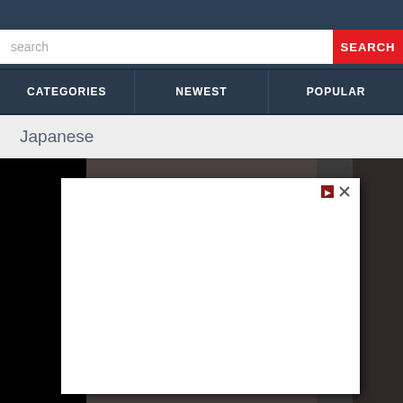search
SEARCH
CATEGORIES
NEWEST
POPULAR
Japanese
[Figure (screenshot): Website screenshot showing a search bar with red SEARCH button, navigation bar with CATEGORIES, NEWEST, POPULAR links, breadcrumb showing 'Japanese', and a white modal dialog overlaid on dark video content]